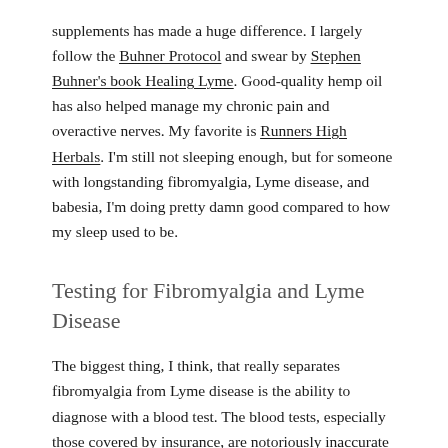supplements has made a huge difference. I largely follow the Buhner Protocol and swear by Stephen Buhner's book Healing Lyme. Good-quality hemp oil has also helped manage my chronic pain and overactive nerves. My favorite is Runners High Herbals. I'm still not sleeping enough, but for someone with longstanding fibromyalgia, Lyme disease, and babesia, I'm doing pretty damn good compared to how my sleep used to be.
Testing for Fibromyalgia and Lyme Disease
The biggest thing, I think, that really separates fibromyalgia from Lyme disease is the ability to diagnose with a blood test. The blood tests, especially those covered by insurance, are notoriously inaccurate from what I've read, but they do exist. As of my last reading